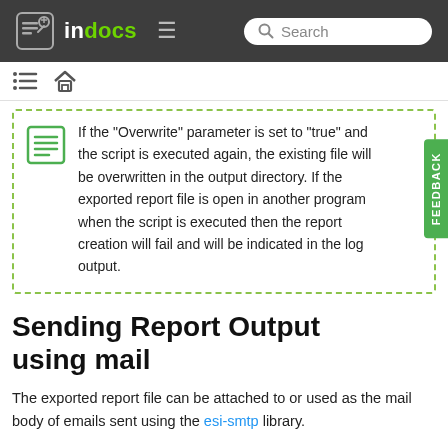indocs — Search navigation
If the "Overwrite" parameter is set to "true" and the script is executed again, the existing file will be overwritten in the output directory. If the exported report file is open in another program when the script is executed then the report creation will fail and will be indicated in the log output.
Sending Report Output using mail
The exported report file can be attached to or used as the mail body of emails sent using the esi-smtp library.